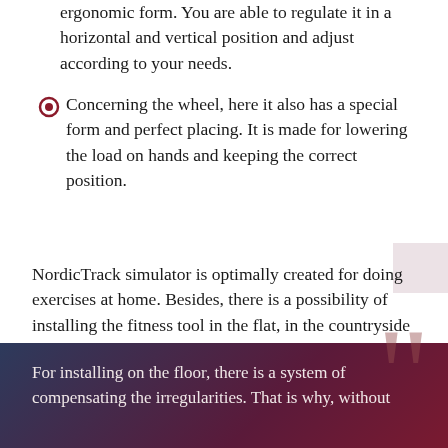ergonomic form. You are able to regulate it in a horizontal and vertical position and adjust according to your needs.
Concerning the wheel, here it also has a special form and perfect placing. It is made for lowering the load on hands and keeping the correct position.
NordicTrack simulator is optimally created for doing exercises at home. Besides, there is a possibility of installing the fitness tool in the flat, in the countryside or other rooms. Additional shipping rollers help to move the device: from room to room, where you exercise.
For installing on the floor, there is a system of compensating the irregularities. That is why, without